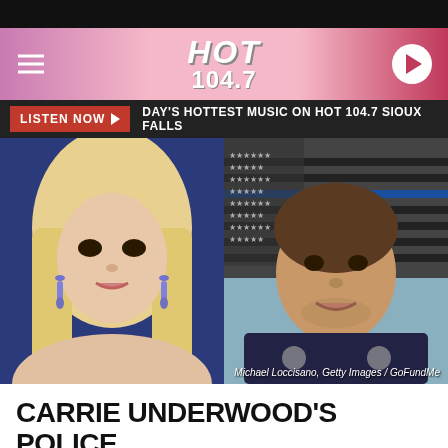[Figure (screenshot): HOT 104.7 radio station website header with hamburger menu, logo, and play button on pink gradient background]
LISTEN NOW ▶  DAY'S HOTTEST MUSIC ON HOT 104.7 SIOUX FALLS
[Figure (photo): Two-panel image: left shows a blonde woman (Carrie Underwood) with dangly earrings on a blue background; right shows a male police officer in uniform smiling in front of a thin blue line flag. Credit: Michael Loccisano, Getty Images / GoFundMe]
CARRIE UNDERWOOD'S POLICE